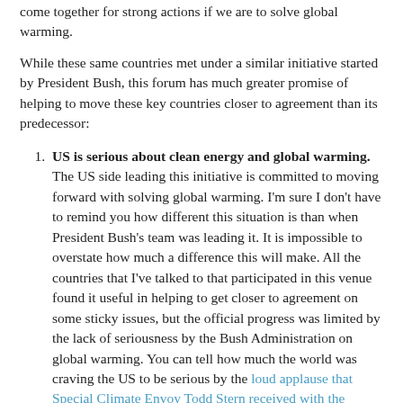come together for strong actions if we are to solve global warming.
While these same countries met under a similar initiative started by President Bush, this forum has much greater promise of helping to move these key countries closer to agreement than its predecessor:
US is serious about clean energy and global warming. The US side leading this initiative is committed to moving forward with solving global warming. I'm sure I don't have to remind you how different this situation is than when President Bush's team was leading it. It is impossible to overstate how much a difference this will make. All the countries that I've talked to that participated in this venue found it useful in helping to get closer to agreement on some sticky issues, but the official progress was limited by the lack of seriousness by the Bush Administration on global warming. You can tell how much the world was craving the US to be serious by the loud applause that Special Climate Envoy Todd Stern received with the simple statement: "we are back".
The clock is ticking even faster. Copenhagen is now only 8 months away so getting an agreement as world leaders have